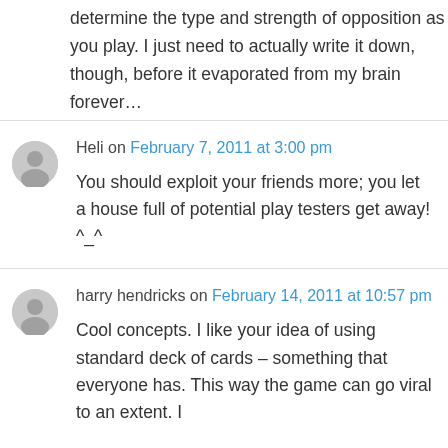determine the type and strength of opposition as you play. I just need to actually write it down, though, before it evaporated from my brain forever…
Heli on February 7, 2011 at 3:00 pm
You should exploit your friends more; you let a house full of potential play testers get away! ^_^
harry hendricks on February 14, 2011 at 10:57 pm
Cool concepts. I like your idea of using standard deck of cards – something that everyone has. This way the game can go viral to an extent. I